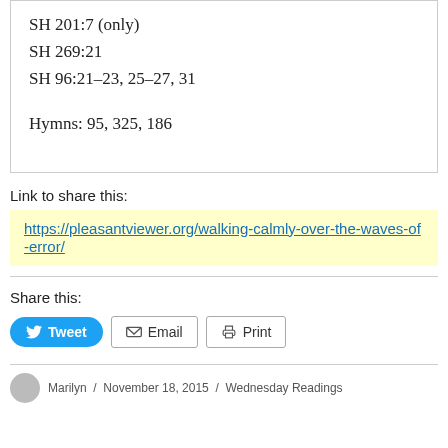SH 201:7 (only)
SH 269:21
SH 96:21-23, 25-27, 31
Hymns: 95, 325, 186
Link to share this:
https://pleasantviewer.org/walking-calmly-over-the-waves-of-error/
Share this:
Tweet  Email  Print
Marilyn / November 18, 2015 / Wednesday Readings